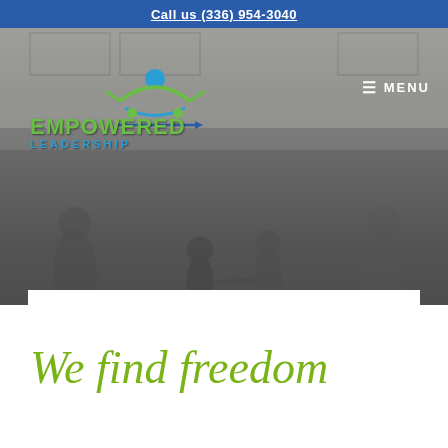Call us (336) 954-3040
[Figure (photo): Hero banner photo of a family of four (man, two young girls, woman) holding hands in front of a white garage door, overlaid with a dark semi-transparent tint. Empowered Leadership logo with green and blue figure graphic is in the upper left, MENU button in the upper right.]
We find freedom